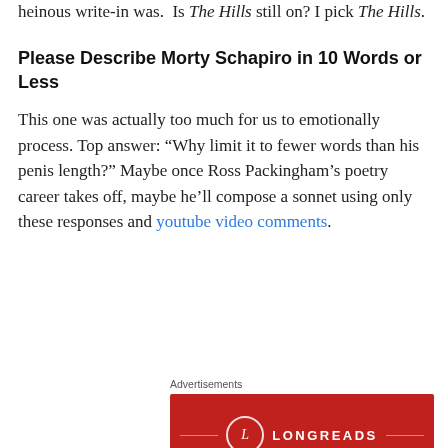heinous write-in was.  Is The Hills still on? I pick The Hills.
Please Describe Morty Schapiro in 10 Words or Less
This one was actually too much for us to emotionally process. Top answer: “Why limit it to fewer words than his penis length?” Maybe once Ross Packingham’s poetry career takes off, maybe he’ll compose a sonnet using only these responses and youtube video comments.
Advertisements
[Figure (screenshot): Longreads advertisement: red background with white Longreads logo and text 'The best stories on the web – ours, and...']
Advertisements
[Figure (screenshot): WordPress advertisement on dark background: 'Opinions. We all have them!' with WordPress and another logo]